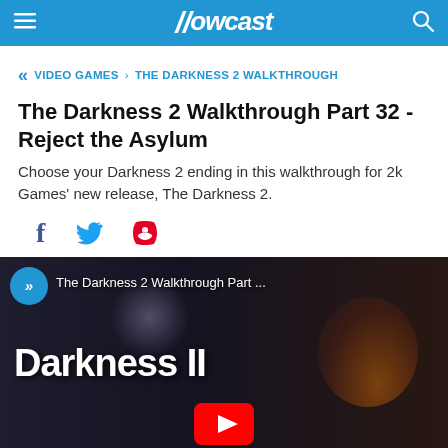Howcast
« VIDEO GAMES › THE DARKNESS 2 WALKTHROUGH
The Darkness 2 Walkthrough Part 32 - Reject the Asylum
Choose your Darkness 2 ending in this walkthrough for 2k Games' new release, The Darkness 2.
[Figure (other): Social sharing icons: Facebook, Twitter, Pinterest]
[Figure (screenshot): Video thumbnail for 'The Darkness 2 Walkthrough Part...' showing game title screen with Darkness II logo, a YouTube play button overlay, and a Howcast icon badge]